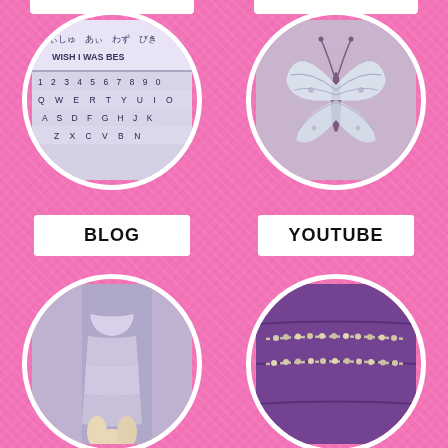[Figure (photo): Circular photo of a smartphone keyboard showing Japanese text 'うぃしゅ あぃ わず びき' and 'WISH I WAS BES' with QWERTY keyboard visible]
[Figure (photo): Circular photo of a white/blue butterfly against a light pink/mauve background]
BLOG
YOUTUBE
[Figure (photo): Circular photo of a person wearing a ruched white/lavender satin dress]
[Figure (photo): Circular photo of purple fabric with silver/crystal beaded strands]